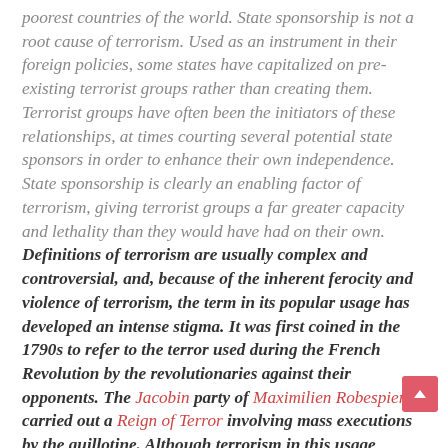poorest countries of the world. State sponsorship is not a root cause of terrorism. Used as an instrument in their foreign policies, some states have capitalized on pre-existing terrorist groups rather than creating them. Terrorist groups have often been the initiators of these relationships, at times courting several potential state sponsors in order to enhance their own independence. State sponsorship is clearly an enabling factor of terrorism, giving terrorist groups a far greater capacity and lethality than they would have had on their own. Definitions of terrorism are usually complex and controversial, and, because of the inherent ferocity and violence of terrorism, the term in its popular usage has developed an intense stigma. It was first coined in the 1790s to refer to the terror used during the French Revolution by the revolutionaries against their opponents. The Jacobin party of Maximilien Robespierre carried out a Reign of Terror involving mass executions by the guillotine. Although terrorism in this usage implies an act of violence by a state against its domestic enemies, since the 20th century the term has been applied most